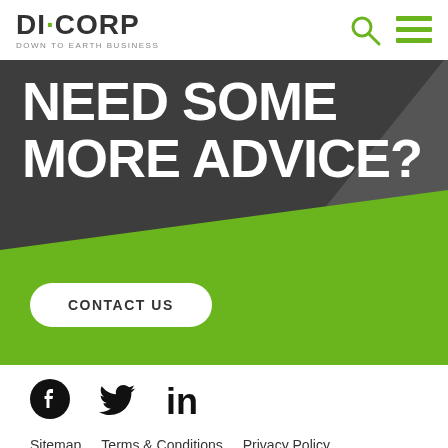DICORP DOWN TO EARTH BUSINESS
NEED SOME MORE ADVICE?
CONTACT US
[Figure (logo): Social media icons: Facebook, Twitter, LinkedIn]
Sitemap   Terms & Conditions   Privacy Policy   Copyright